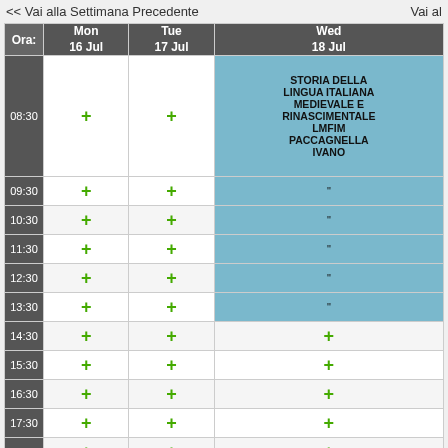<< Vai alla Settimana Precedente   Vai al...
| Ora: | Mon 16 Jul | Tue 17 Jul | Wed 18 Jul |
| --- | --- | --- | --- |
| 08:30 | + | + | STORIA DELLA LINGUA ITALIANA MEDIEVALE E RINASCIMENTALE LMFIM PACCAGNELLA IVANO |
| 09:30 | + | + | " |
| 10:30 | + | + | " |
| 11:30 | + | + | " |
| 12:30 | + | + | " |
| 13:30 | + | + | " |
| 14:30 | + | + | + |
| 15:30 | + | + | + |
| 16:30 | + | + | + |
| 17:30 | + | + | + |
| 18:30 | + | + | + |
| Seminario | Chiuso | Convegno | Lezioni | Vacanza | Riunione | Esami | Master | CEL | Esterno |
| --- | --- | --- | --- | --- | --- | --- | --- | --- | --- |
Vedi Giorno: 10 Jul | 11 Jul | 12 Jul | 13 Jul | 14 Jul | 15 Jul | 16 Jul | 1...